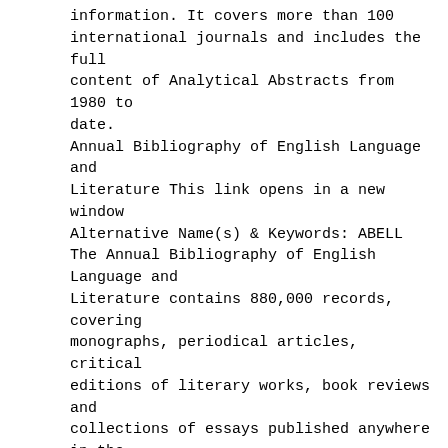information. It covers more than 100 international journals and includes the full content of Analytical Abstracts from 1980 to date.
Annual Bibliography of English Language and Literature This link opens in a new window Alternative Name(s) & Keywords: ABELL
The Annual Bibliography of English Language and Literature contains 880,000 records, covering monographs, periodical articles, critical editions of literary works, book reviews and collections of essays published anywhere in the world from 1920 onwards.
Applied Social Sciences Index and Abstracts (ASSIA) This link opens in a new window  Help - link to guide or additional help resources This link opens in a new window  Walk in User Access This link opens in a new window Alternative Name(s) & Keywords: Applied Social Sciences Index & Abstracts, ASSIA
ASSIA is an indexing and abstracting tool covering health, social services, economics